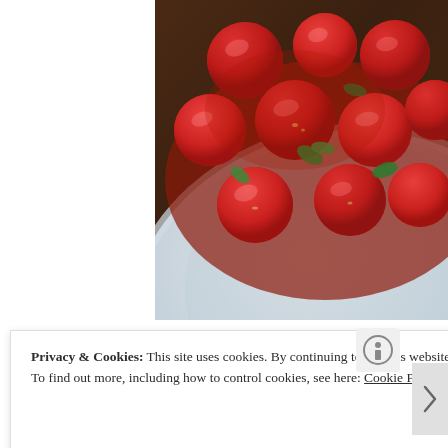[Figure (photo): A close-up photo of roasted or marinated cherry tomatoes with fresh herbs (basil) in a light blue/white ceramic bowl or plate, set on a dark wooden surface. The right portion of the image is visible; the left side is white/blank.]
Privacy & Cookies: This site uses cookies. By continuing to use this website, you agree to their use.
To find out more, including how to control cookies, see here: Cookie Policy
Close and accept